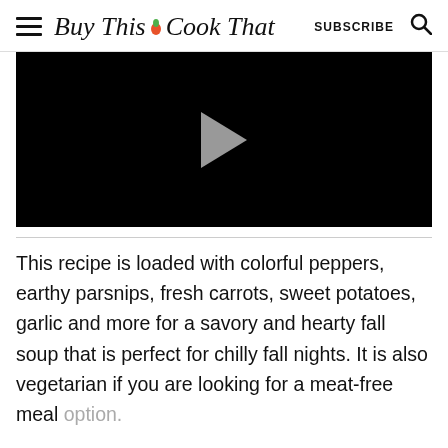Buy This Cook That — SUBSCRIBE
[Figure (screenshot): Black video player with a light gray play button triangle in the center]
This recipe is loaded with colorful peppers, earthy parsnips, fresh carrots, sweet potatoes, garlic and more for a savory and hearty fall soup that is perfect for chilly fall nights. It is also vegetarian if you are looking for a meat-free meal option.